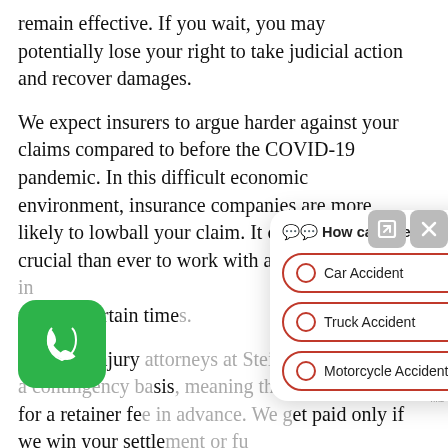remain effective. If you wait, you may potentially lose your right to take judicial action and recover damages.
We expect insurers to argue harder against your claims compared to before the COVID-19 pandemic. In this difficult economic environment, insurance companies are more likely to lowball your claim. It can be more crucial than ever to work with a Georgia [attorney in these] uncertain times.
Personal injury attorneys at Stein & Fox work on a contingency basis, meaning that we do not ask for a retainer fee in advance. We get paid only if we win your settlement or fu[ll trial verdict].
The fear of the virus still remains, and we
[Figure (screenshot): Chat widget overlay showing 'How can I help you?' with three options: Car Accident, Truck Accident, Motorcycle Accident (each in orange-bordered pill buttons with radio circles). Top-right has expand and close icon buttons. A phone call button (green rounded square with phone icon) is visible on the left. A reCAPTCHA badge appears bottom right.]